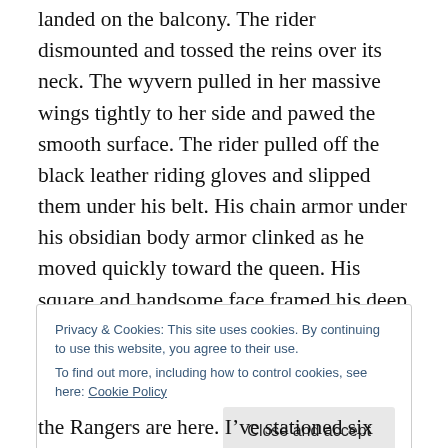landed on the balcony. The rider dismounted and tossed the reins over its neck. The wyvern pulled in her massive wings tightly to her side and pawed the smooth surface. The rider pulled off the black leather riding gloves and slipped them under his belt. His chain armor under his obsidian body armor clinked as he moved quickly toward the queen. His square and handsome face framed his deep green eyes. Tears escaped as she nearly ran into his arms.
“Jerim, what are we going to do?” she asked.
Privacy & Cookies: This site uses cookies. By continuing to use this website, you agree to their use.
To find out more, including how to control cookies, see here: Cookie Policy
the Rangers are here. I’ve stationed six battalions at each